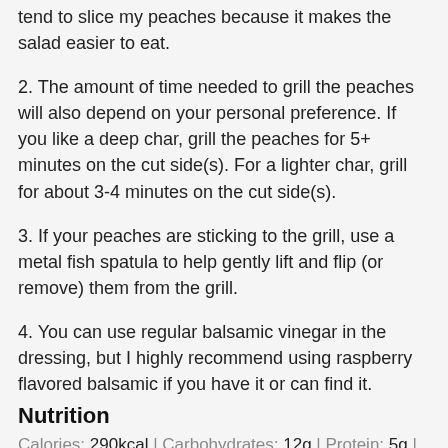tend to slice my peaches because it makes the salad easier to eat.
2. The amount of time needed to grill the peaches will also depend on your personal preference. If you like a deep char, grill the peaches for 5+ minutes on the cut side(s). For a lighter char, grill for about 3-4 minutes on the cut side(s).
3. If your peaches are sticking to the grill, use a metal fish spatula to help gently lift and flip (or remove) them from the grill.
4. You can use regular balsamic vinegar in the dressing, but I highly recommend using raspberry flavored balsamic if you have it or can find it.
Nutrition
Calories: 290kcal | Carbohydrates: 12g | Protein: 5g | Fat: 25g | Saturated Fat: 5g | Cholesterol: 18mg | Sodium: 208mg | Potassium: 295mg | Fiber: 2g | Sugar: 8g | Vitamin A: 680IU | Vitamin C: 12mg | Calcium: 26mg | Iron: 0.8mg